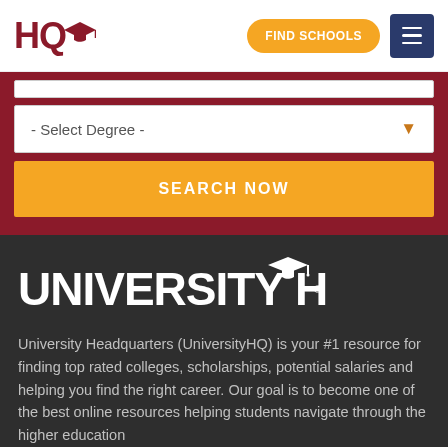HQ [logo] | FIND SCHOOLS | [hamburger menu]
[Figure (screenshot): Partially visible select dropdown (top crop)]
- Select Degree -
SEARCH NOW
[Figure (logo): UNIVERSITY HQ logo with graduation cap icon and registered trademark symbol]
University Headquarters (UniversityHQ) is your #1 resource for finding top rated colleges, scholarships, potential salaries and helping you find the right career. Our goal is to become one of the best online resources helping students navigate through the higher education